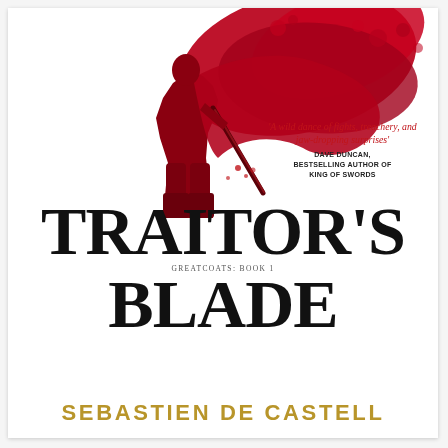[Figure (illustration): Red silhouette illustration of an armored warrior/fighter in dynamic pose with red cape/cloak billowing behind, rendered in deep crimson red tones against white background, covering the upper portion of the book cover]
'A wild dance of fights, treachery, and jaw-dropping surprises'
DAVE DUNCAN, BESTSELLING AUTHOR OF KING OF SWORDS
TRAITOR'S BLADE
GREATCOATS: BOOK 1
SEBASTIEN DE CASTELL